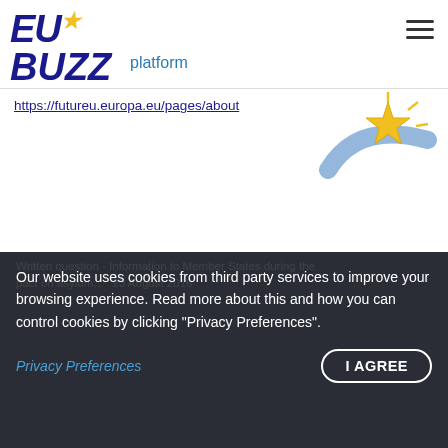EU22 Buzz platform
https://futureu.europa.eu/pages/about
[Figure (logo): EU golden star with blue swoosh logo]
Related Posts
Written question - Is the Council not worried that the pact on asylum and migration could open the floodgates? - E-002809/2022
23 August 2022
Our website uses cookies from third party services to improve your browsing experience. Read more about this and how you can control cookies by clicking "Privacy Preferences".
Privacy Preferences
I AGREE